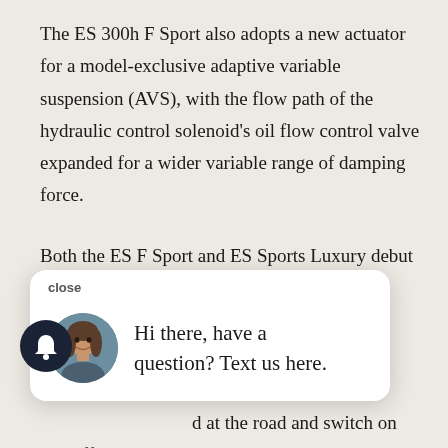The ES 300h F Sport also adopts a new actuator for a model-exclusive adaptive variable suspension (AVS), with the flow path of the hydraulic control solenoid's oil flow control valve expanded for a wider variable range of damping force.
Both the ES F Sport and ES Sports Luxury debut [obscured by popup] improves
[Figure (screenshot): Chat popup widget with avatar photo of a woman, close button, and message: Hi there, have a question? Text us here.]
Compared with existing technology that uses LEDs [obscured] d at the road and switch on and off as individual chips that can shade fixed portions of the road, BladeScan AHS directs the LEDs back towards